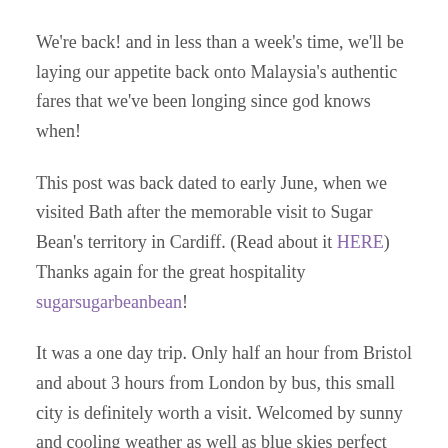We're back! and in less than a week's time, we'll be laying our appetite back onto Malaysia's authentic fares that we've been longing since god knows when!
This post was back dated to early June, when we visited Bath after the memorable visit to Sugar Bean's territory in Cardiff. (Read about it HERE) Thanks again for the great hospitality sugarsugarbeanbean!
It was a one day trip. Only half an hour from Bristol and about 3 hours from London by bus, this small city is definitely worth a visit. Welcomed by sunny and cooling weather as well as blue skies perfect for taking breathtaking scenic pictures.
Bath is a city that became a world heritage site back in 1987, laid out with choices of museums, theaters, cultural venues